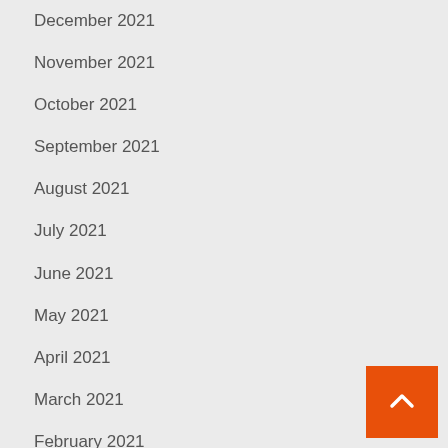December 2021
November 2021
October 2021
September 2021
August 2021
July 2021
June 2021
May 2021
April 2021
March 2021
February 2021
January 2021
December 2020